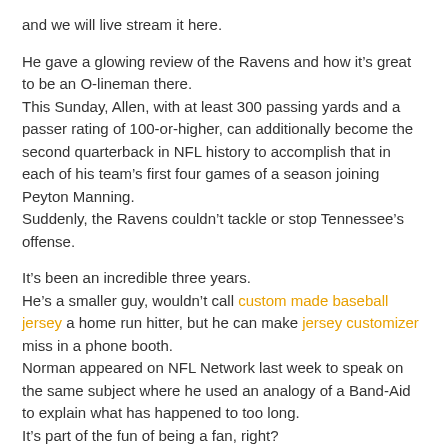and we will live stream it here.
He gave a glowing review of the Ravens and how it’s great to be an O-lineman there.
This Sunday, Allen, with at least 300 passing yards and a passer rating of 100-or-higher, can additionally become the second quarterback in NFL history to accomplish that in each of his team’s first four games of a season joining Peyton Manning.
Suddenly, the Ravens couldn’t tackle or stop Tennessee’s offense.
It’s been an incredible three years.
He’s a smaller guy, wouldn’t call custom made baseball jersey a home run hitter, but he can make jersey customizer miss in a phone booth.
Norman appeared on NFL Network last week to speak on the same subject where he used an analogy of a Band-Aid to explain what has happened to too long.
It’s part of the fun of being a fan, right?
I remember all the stuff that I went through previously, before I got here, and that just motivates me every day.
That’s a huge challenge.
So, something we have to try to go out there and make it hard for him, make the looks hard.